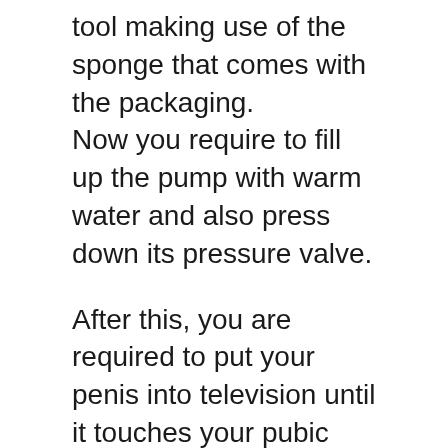tool making use of the sponge that comes with the packaging.
Now you require to fill up the pump with warm water and also press down its pressure valve.
After this, you are required to put your penis into television until it touches your pubic bone.
Post this close the front sinus.
In order to keep pressure, you now require to start pushing the handball.
Wait for the suitable pressure to be created.
Required to await 10 minutes to make sure that erection is achieved.
Currently, get rid of the water utilizing a